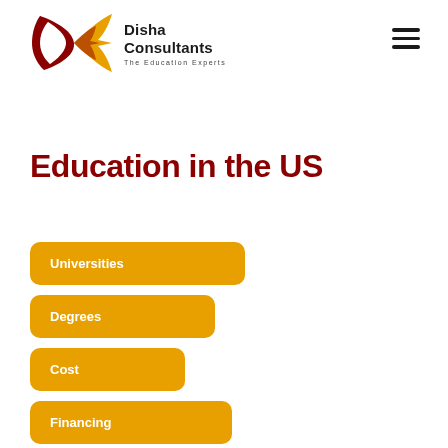[Figure (logo): Disha Consultants logo with stylized arrow/fan shapes in dark red and orange/gold, with text 'Disha Consultants' and tagline 'The Education Experts']
Education in the US
Universities
Degrees
Cost
Financing
Working as a Student